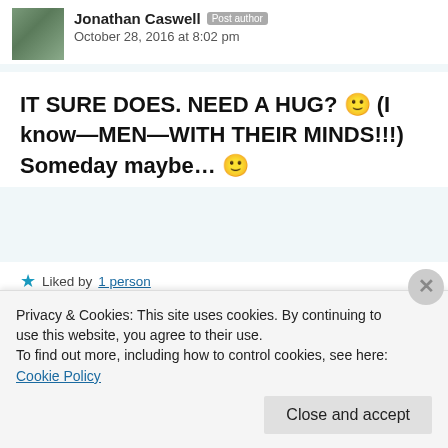Jonathan Caswell  Post author
October 28, 2016 at 8:02 pm
IT SURE DOES. NEED A HUG? 🙂 (I know—MEN—WITH THEIR MINDS!!!) Someday maybe... 🙂
★ Liked by 1 person
Privacy & Cookies: This site uses cookies. By continuing to use this website, you agree to their use.
To find out more, including how to control cookies, see here: Cookie Policy